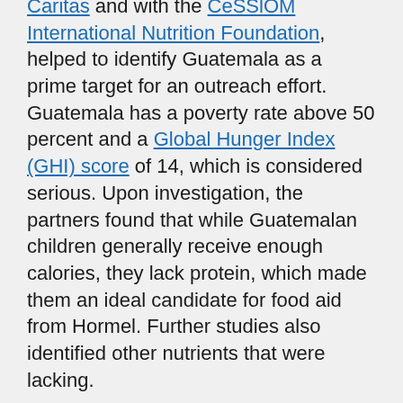Caritas and with the CeSSlOM International Nutrition Foundation, helped to identify Guatemala as a prime target for an outreach effort. Guatemala has a poverty rate above 50 percent and a Global Hunger Index (GHI) score of 14, which is considered serious. Upon investigation, the partners found that while Guatemalan children generally receive enough calories, they lack protein, which made them an ideal candidate for food aid from Hormel. Further studies also identified other nutrients that were lacking.
Melissa Bonorden, a senior nutritionist at Hormel, who is a member of the…